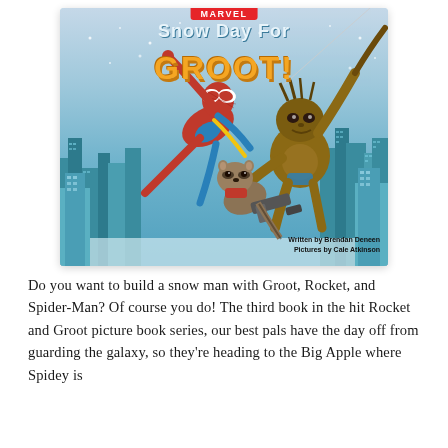[Figure (illustration): Book cover for 'Snow Day for Groot!' — a Marvel children's picture book. Shows Spider-Man swinging through a snowy New York City skyline, with Groot and Rocket Raccoon (holding a gun) alongside. Title text: 'Snow Day for Groot!' with Marvel logo at top. Written by Brendan Deneen, Pictures by Cale Atkinson.]
Do you want to build a snow man with Groot, Rocket, and Spider-Man? Of course you do! The third book in the hit Rocket and Groot picture book series, our best pals have the day off from guarding the galaxy, so they're heading to the Big Apple where Spidey is